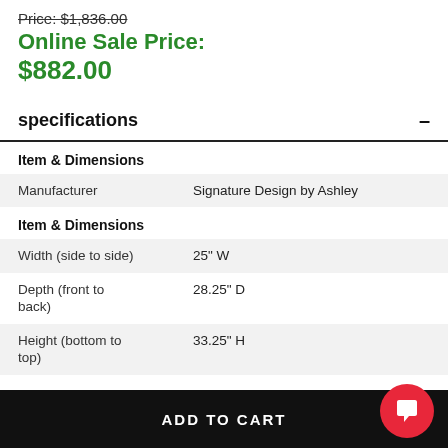Price: $1,836.00
Online Sale Price: $882.00
specifications
|  |  |
| --- | --- |
| Item & Dimensions |  |
| Manufacturer | Signature Design by Ashley |
| Item & Dimensions |  |
| Width (side to side) | 25" W |
| Depth (front to back) | 28.25" D |
| Height (bottom to top) | 33.25" H |
ADD TO CART